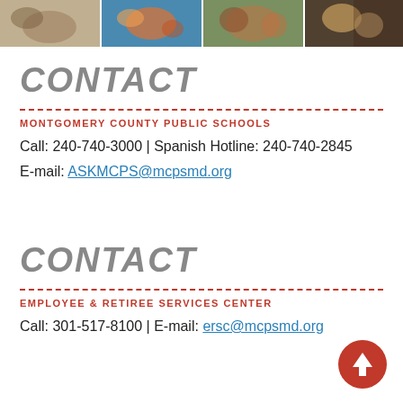[Figure (photo): Header photo strip showing four images of students and school activities]
CONTACT
MONTGOMERY COUNTY PUBLIC SCHOOLS
Call: 240-740-3000 | Spanish Hotline: 240-740-2845
E-mail: ASKMCPS@mcpsmd.org
CONTACT
EMPLOYEE & RETIREE SERVICES CENTER
Call: 301-517-8100 | E-mail: ersc@mcpsmd.org